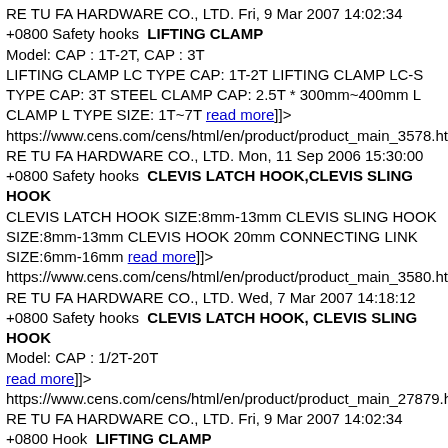RE TU FA HARDWARE CO., LTD. Fri, 9 Mar 2007 14:02:34 +0800 Safety hooks  LIFTING CLAMP
Model: CAP : 1T-2T, CAP : 3T
LIFTING CLAMP LC TYPE CAP: 1T-2T LIFTING CLAMP LC-S TYPE CAP: 3T STEEL CLAMP CAP: 2.5T * 300mm~400mm L CLAMP L TYPE SIZE: 1T~7T read more]]>
https://www.cens.com/cens/html/en/product/product_main_3578.htm
RE TU FA HARDWARE CO., LTD. Mon, 11 Sep 2006 15:30:00 +0800 Safety hooks  CLEVIS LATCH HOOK,CLEVIS SLING HOOK
CLEVIS LATCH HOOK SIZE:8mm-13mm CLEVIS SLING HOOK SIZE:8mm-13mm CLEVIS HOOK 20mm CONNECTING LINK SIZE:6mm-16mm read more]]>
https://www.cens.com/cens/html/en/product/product_main_3580.htm
RE TU FA HARDWARE CO., LTD. Wed, 7 Mar 2007 14:18:12 +0800 Safety hooks  CLEVIS LATCH HOOK, CLEVIS SLING HOOK
Model: CAP : 1/2T-20T
read more]]>
https://www.cens.com/cens/html/en/product/product_main_27879.ht
RE TU FA HARDWARE CO., LTD. Fri, 9 Mar 2007 14:02:34 +0800 Hook  LIFTING CLAMP
Model: CAP : 1T-2T, CAP : 3T
LIFTING CLAMP LC TYPE CAP: 1T-2T LIFTING CLAMP LC-S TYPE CAP: 3T STEEL CLAMP CAP: 2.5T * 300mm~400mm L CLAMP L TYPE SIZE: 1T~7T read more]]>